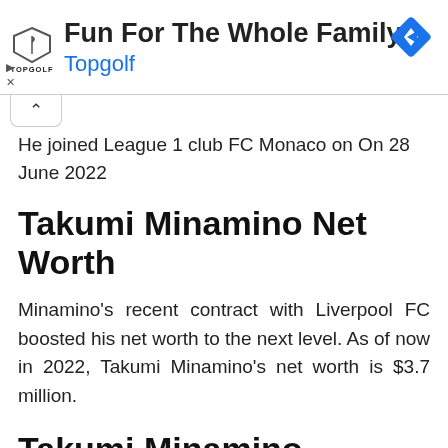[Figure (other): Topgolf advertisement banner with logo, headline 'Fun For The Whole Family', subtext 'Topgolf', and a blue navigation diamond icon on the right. Play and close controls on the lower left.]
He joined League 1 club FC Monaco on On 28 June 2022
Takumi Minamino Net Worth
Minamino's recent contract with Liverpool FC boosted his net worth to the next level. As of now in 2022, Takumi Minamino's net worth is $3.7 million.
Takumi Minamino Girlfriend or Wife